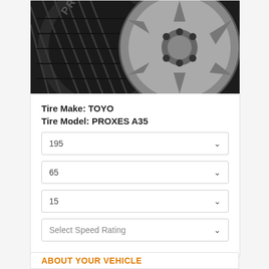[Figure (photo): Close-up photo of a Toyo Proxes A35 tire with an alloy wheel on a dark background]
Tire Make: TOYO
Tire Model: PROXES A35
195
65
15
Select Speed Rating
ABOUT YOUR VEHICLE